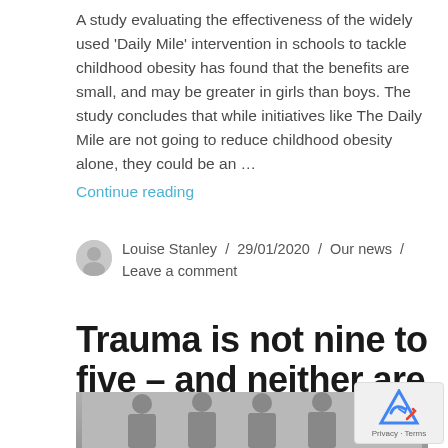A study evaluating the effectiveness of the widely used 'Daily Mile' intervention in schools to tackle childhood obesity has found that the benefits are small, and may be greater in girls than boys. The study concludes that while initiatives like The Daily Mile are not going to reduce childhood obesity alone, they could be an … Continue reading
Louise Stanley / 29/01/2020 / Our news / Leave a comment
Trauma is not nine to five – and neither are our research nurses
[Figure (photo): A group of people standing outside a building, partially visible at the bottom of the page.]